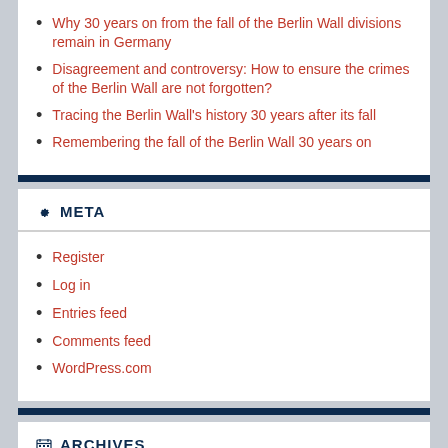Why 30 years on from the fall of the Berlin Wall divisions remain in Germany
Disagreement and controversy: How to ensure the crimes of the Berlin Wall are not forgotten?
Tracing the Berlin Wall's history 30 years after its fall
Remembering the fall of the Berlin Wall 30 years on
META
Register
Log in
Entries feed
Comments feed
WordPress.com
ARCHIVES
November 2019
October 2019